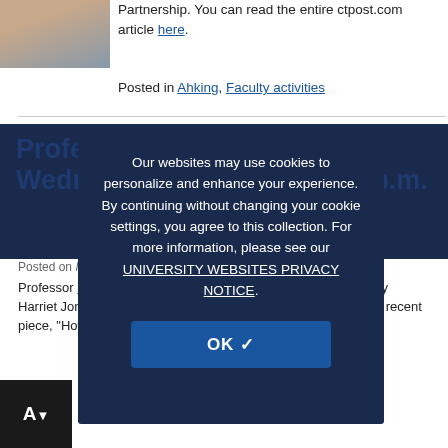[Figure (photo): Headshot photo of a person, cropped at top of page]
Partnership. You can read the entire ctpost.com article here.
Posted in Ahking, Faculty activities
Professor Ahking on WNPR, Wednesday, March 19, 8:00 p.m.
Posted on March 16, 2012
Professor Francis Ahking was interviewed on March 16, 2012 by Harriet Jones, reporter for WNPR. Jones questioned him on his recent piece, "How Free is Connecticut," published in The Connecticut
Our websites may use cookies to personalize and enhance your experience. By continuing without changing your cookie settings, you agree to this collection. For more information, please see our UNIVERSITY WEBSITES PRIVACY NOTICE.
OK ✓